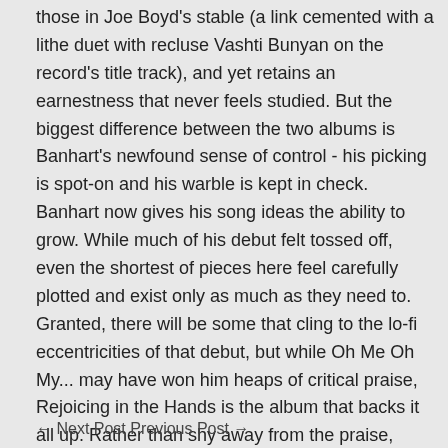those in Joe Boyd's stable (a link cemented with a lithe duet with recluse Vashti Bunyan on the record's title track), and yet retains an earnestness that never feels studied. But the biggest difference between the two albums is Banhart's newfound sense of control - his picking is spot-on and his warble is kept in check. Banhart now gives his song ideas the ability to grow. While much of his debut felt tossed off, even the shortest of pieces here feel carefully plotted and exist only as much as they need to. Granted, there will be some that cling to the lo-fi eccentricities of that debut, but while Oh Me Oh My... may have won him heaps of critical praise, Rejoicing in the Hands is the album that backs it all up. Rather than shy away from the praise, Banhart reacted with confidence and made what is sure to be one of my favorite albums of the year.
← Next Post Previous Post →